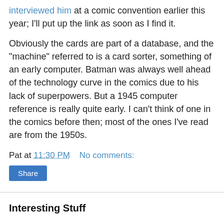interviewed him at a comic convention earlier this year; I'll put up the link as soon as I find it.
Obviously the cards are part of a database, and the "machine" referred to is a card sorter, something of an early computer. Batman was always well ahead of the technology curve in the comics due to his lack of superpowers. But a 1945 computer reference is really quite early. I can't think of one in the comics before then; most of the ones I've read are from the 1950s.
Pat at 11:30 PM   No comments:
Share
Interesting Stuff
I really enjoyed reading this post at Jane Galt, which refers to this post at Crooked Timber (smarter than average leftism), which leads us to this article by the writer that CT is